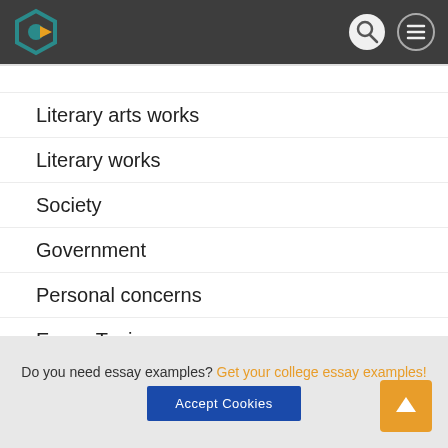[site logo and navigation header]
Literary arts works
Literary works
Society
Government
Personal concerns
Essay Topics
House animals
Sports
Meals
Offense
Ideas
Do you need essay examples? Get your college essay examples!
Accept Cookies